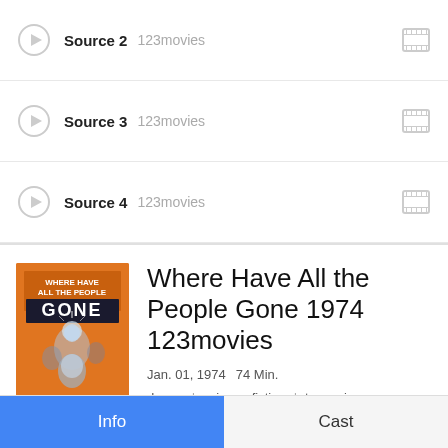Source 2  123movies
Source 3  123movies
Source 4  123movies
[Figure (other): Movie poster for 'Where Have All the People Gone' (1974) — orange background with text and sci-fi imagery of faces]
Where Have All the People Gone 1974 123movies
Jan. 01, 1974   74 Min.
drama | science-fiction | tv-movie
Info   Cast